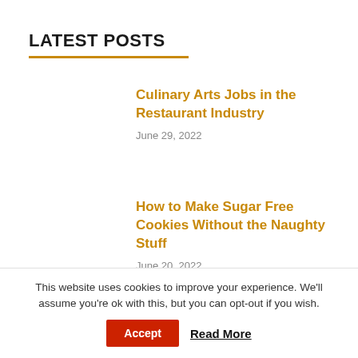LATEST POSTS
Culinary Arts Jobs in the Restaurant Industry
June 29, 2022
How to Make Sugar Free Cookies Without the Naughty Stuff
June 20, 2022
Easy Cookies Recipes
This website uses cookies to improve your experience. We'll assume you're ok with this, but you can opt-out if you wish.
Accept  Read More